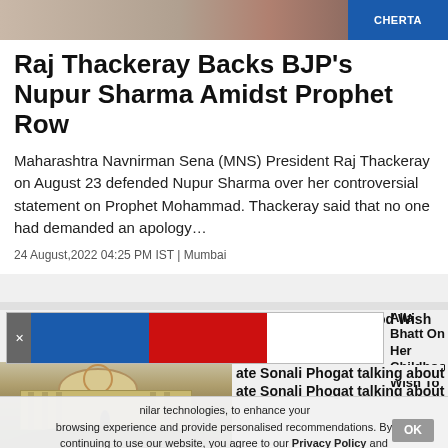[Figure (photo): Partial photo strip at top of page with a blue label/badge on the right side]
Raj Thackeray Backs BJP's Nupur Sharma Amidst Prophet Row
Maharashtra Navnirman Sena (MNS) President Raj Thackeray on August 23 defended Nupur Sharma over her controversial statement on Prophet Mohammad. Thackeray said that no one had demanded an apology...
24 August,2022 04:25 PM IST | Mumbai
[Figure (screenshot): Advertisement banner with blue and red color blocks and an X close button]
Alia Bhatt On Her Childhood Wish To ith Sanjay Leela Bhansali
[Figure (photo): Photograph of the Supreme Court of India building with dome, columns and trees]
ate Sonali Phogat talking about
nilar technologies, to enhance your browsing experience and provide personalised recommendations. By continuing to use our website, you agree to our Privacy Policy and Cookie Policy.